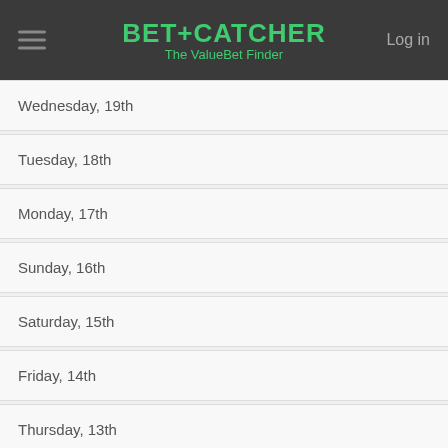BET+CATCHER The ValueBet Finder
Wednesday, 19th
Tuesday, 18th
Monday, 17th
Sunday, 16th
Saturday, 15th
Friday, 14th
Thursday, 13th
Wednesday, 12th
Tuesday, 11th
Monday, 10th
Sunday, 9th
Saturday, 8th
Friday, 7th